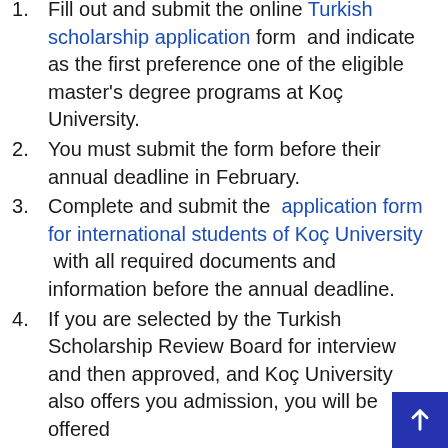Fill out and submit the online Turkish scholarship application form and indicate as the first preference one of the eligible master's degree programs at Koç University.
You must submit the form before their annual deadline in February.
Complete and submit the application form for international students of Koç University with all required documents and information before the annual deadline.
If you are selected by the Turkish Scholarship Review Board for interview and then approved, and Koç University also offers you admission, you will be offered